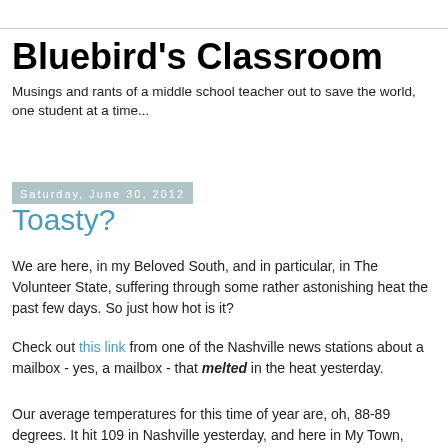Bluebird's Classroom
Musings and rants of a middle school teacher out to save the world, one student at a time...
Saturday, June 30, 2012
Toasty?
We are here, in my Beloved South, and in particular, in The Volunteer State, suffering through some rather astonishing heat the past few days.  So just how hot is it?
Check out this link from one of the Nashville news stations about a mailbox - yes, a mailbox - that melted in the heat yesterday.
Our average temperatures for this time of year are, oh, 88-89 degrees.  It hit 109 in Nashville yesterday, and here in My Town, there were some reports of 111.  Really.